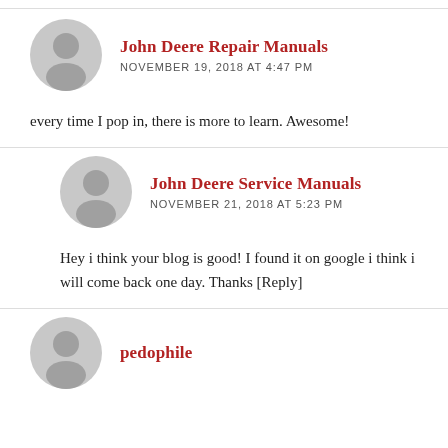John Deere Repair Manuals
NOVEMBER 19, 2018 AT 4:47 PM
every time I pop in, there is more to learn. Awesome!
John Deere Service Manuals
NOVEMBER 21, 2018 AT 5:23 PM
Hey i think your blog is good! I found it on google i think i will come back one day. Thanks [Reply]
pedophile